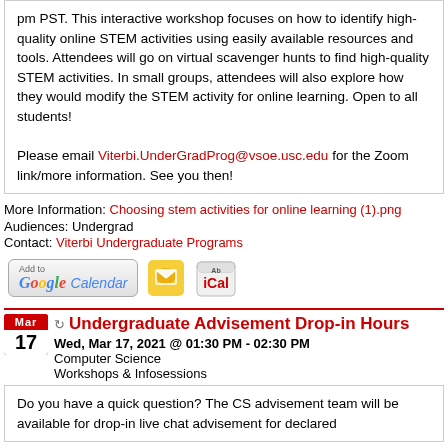pm PST. This interactive workshop focuses on how to identify high-quality online STEM activities using easily available resources and tools. Attendees will go on virtual scavenger hunts to find high-quality STEM activities. In small groups, attendees will also explore how they would modify the STEM activity for online learning. Open to all students!

Please email Viterbi.UnderGradProg@vsoe.usc.edu for the Zoom link/more information. See you then!
More Information: Choosing stem activities for online learning (1).png
Audiences: Undergrad
Contact: Viterbi Undergraduate Programs
[Figure (other): Add to Google Calendar button, email icon, and iCal icon]
Undergraduate Advisement Drop-in Hours
Wed, Mar 17, 2021 @ 01:30 PM - 02:30 PM
Computer Science
Workshops & Infosessions
Do you have a quick question? The CS advisement team will be available for drop-in live chat advisement for declared